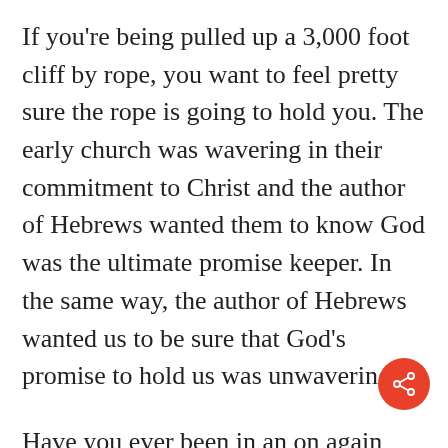If you're being pulled up a 3,000 foot cliff by rope, you want to feel pretty sure the rope is going to hold you. The early church was wavering in their commitment to Christ and the author of Hebrews wanted them to know God was the ultimate promise keeper. In the same way, the author of Hebrews wanted us to be sure that God's promise to hold us was unwavering.
Have you ever been in an on again and off again relationship? How did that make you feel? God is not an on again and off again God. He is faithful and keeps his promises.
[Figure (other): Red circular share button with share/network icon in white, positioned at bottom right of the page]